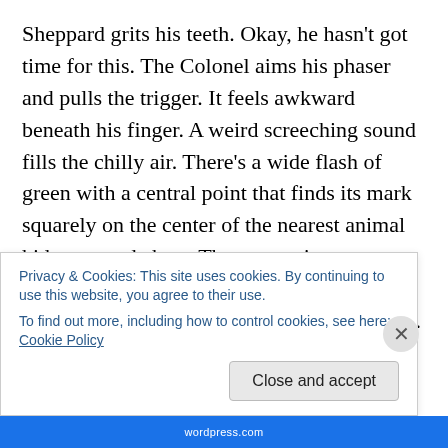Sheppard grits his teeth. Okay, he hasn't got time for this. The Colonel aims his phaser and pulls the trigger. It feels awkward beneath his finger. A weird screeching sound fills the chilly air. There's a wide flash of green with a central point that finds its mark squarely on the center of the nearest animal hide-covered chest. The mountain man goes down and his four buddies immediately turn tail and run. Leaving their fallen man behind. They're not here to do that, John's not here to leave his man behind. He takes his cue from Radek's information and starts his group
Privacy & Cookies: This site uses cookies. By continuing to use this website, you agree to their use.
To find out more, including how to control cookies, see here: Cookie Policy